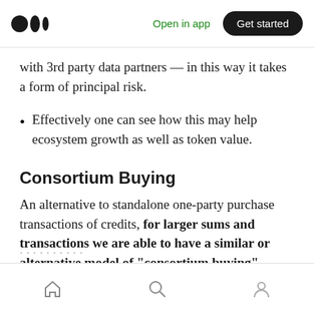Open in app | Get started
with 3rd party data partners — in this way it takes a form of principal risk.
Effectively one can see how this may help ecosystem growth as well as token value.
Consortium Buying
An alternative to standalone one-party purchase transactions of credits, for larger sums and transactions we are able to have a similar or alternative model of "consortium buying".